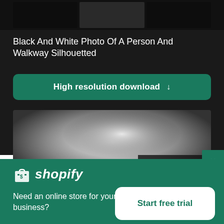[Figure (screenshot): Dark thumbnail images row at top of page — black and dark gray image previews]
Black And White Photo Of A Person And Walkway Silhouetted
High resolution download ↓
[Figure (photo): Blurred black and white preview photo showing a person and walkway silhouetted]
×
[Figure (logo): Shopify logo — shopping bag icon and italic shopify text in white]
Need an online store for your business?
Start free trial